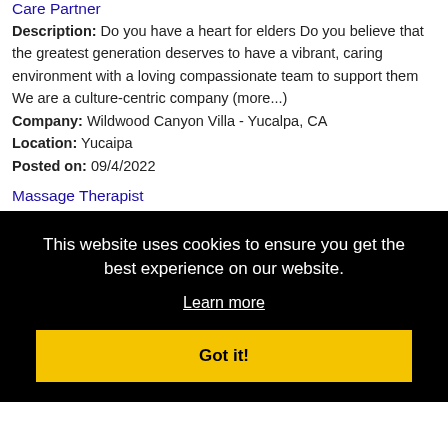Care Partner
Description: Do you have a heart for elders Do you believe that the greatest generation deserves to have a vibrant, caring environment with a loving compassionate team to support them We are a culture-centric company (more...)
Company: Wildwood Canyon Villa - Yucalpa, CA
Location: Yucaipa
Posted on: 09/4/2022
Massage Therapist
Description: The Management Trust Position Title: Massage Therapist Location: Cathedral City, CA at Desert Princess Reporting To: Spa Services Specialist Status: Non-Exempt, Part-
This website uses cookies to ensure you get the best experience on our website.
Learn more
Got it!